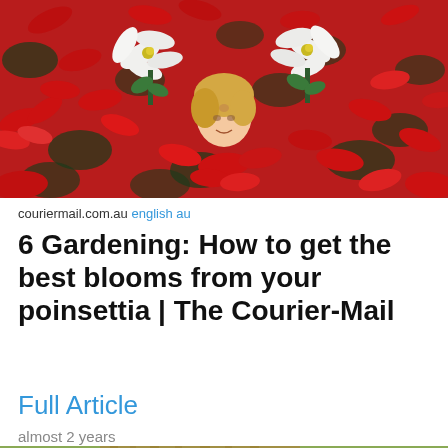[Figure (photo): A woman surrounded by a field of red and white poinsettia flowers in a greenhouse, smiling and holding white poinsettia plants]
couriermail.com.au english au
6 Gardening: How to get the best blooms from your poinsettia | The Courier-Mail
Full Article
almost 2 years
[Figure (photo): Partial view of a garden scene with sunlight and green plants]